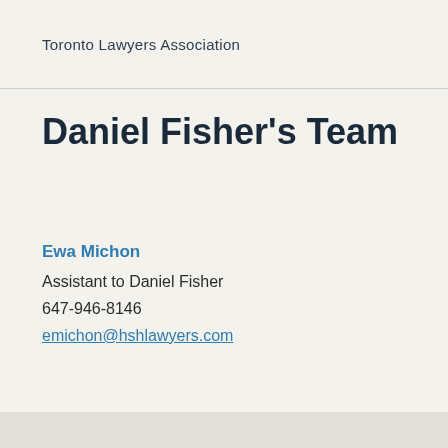Toronto Lawyers Association
Daniel Fisher's Team
Ewa Michon
Assistant to Daniel Fisher
647-946-8146
emichon@hshlawyers.com